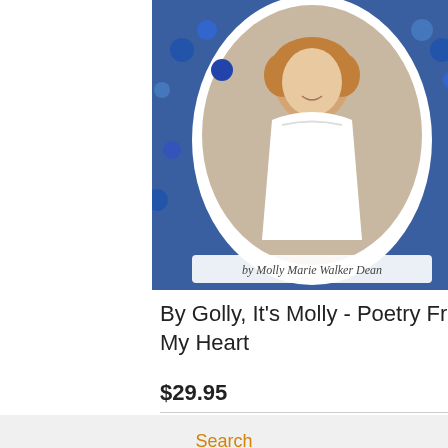[Figure (photo): Book cover of 'By Golly, It's Molly - Poetry From My Heart' by Molly Marie Walker Dean. Shows a woman in a white dress framed in an oval portrait surrounded by blue flowers (bluebonnets).]
By Golly, It's Molly - Poetry From My Heart
$29.95
Search
About Us
Privacy
Store